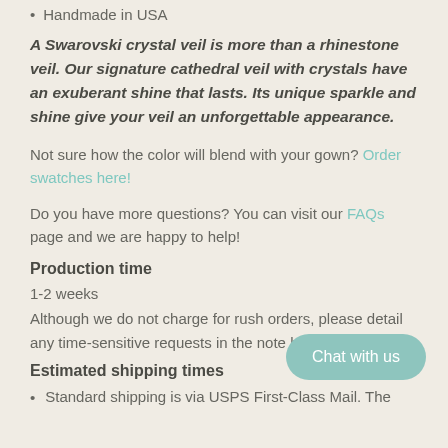Handmade in USA
A Swarovski crystal veil is more than a rhinestone veil. Our signature cathedral veil with crystals have an exuberant shine that lasts. Its unique sparkle and shine give your veil an unforgettable appearance.
Not sure how the color will blend with your gown? Order swatches here!
Do you have more questions? You can visit our FAQs page and we are happy to help!
Production time
1-2 weeks
Although we do not charge for rush orders, please detail any time-sensitive requests in the note box at checkout.
Estimated shipping times
Standard shipping is via USPS First-Class Mail. The